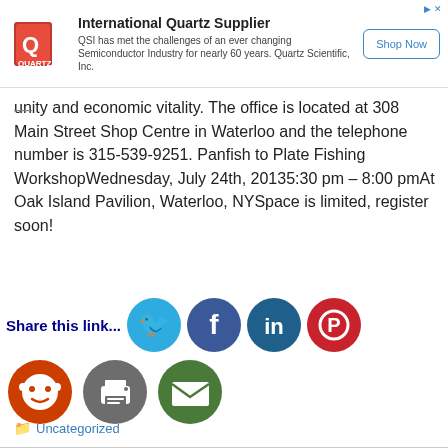[Figure (screenshot): Advertisement banner for International Quartz Supplier (QSI) with logo, text, and Shop Now button]
unity and economic vitality. The office is located at 308 Main Street Shop Centre in Waterloo and the telephone number is 315-539-9251. Panfish to Plate Fishing WorkshopWednesday, July 24th, 20135:30 pm – 8:00 pmAt Oak Island Pavilion, Waterloo, NYSpace is limited, register soon!
[Figure (infographic): Share this link... with social media icons: Twitter (blue), Facebook (dark blue), LinkedIn (dark blue), Pinterest (red), Reddit (red), Print (gray), Email (green)]
Uncategorized